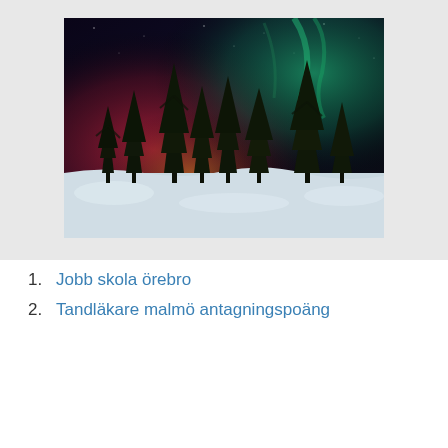[Figure (photo): Northern lights (aurora borealis) over snow-covered pine forest at night, with red and green auroral curtains illuminating the sky]
1. Jobb skola örebro
2. Tandläkare malmö antagningspoäng